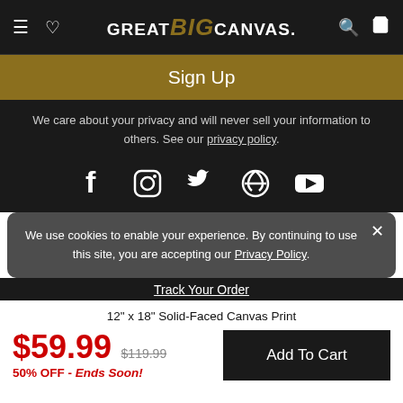GREAT BIG CANVAS.
Sign Up
We care about your privacy and will never sell your information to others. See our privacy policy.
[Figure (illustration): Social media icons: Facebook, Instagram, Twitter, Pinterest, YouTube]
We use cookies to enable your experience. By continuing to use this site, you are accepting our Privacy Policy.
Track Your Order
12" x 18" Solid-Faced Canvas Print
$59.99  $119.99  50% OFF - Ends Soon!
Add To Cart